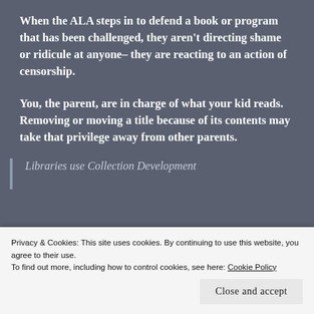When the ALA steps in to defend a book or program that has been challenged, they aren't directing shame or ridicule at anyone– they are reacting to an action of censorship.
You, the parent, are in charge of what your kid reads. Removing or moving a title because of its contents may take that privilege away from other parents.
Libraries use Collection Development … that have been positively reviewed by
Privacy & Cookies: This site uses cookies. By continuing to use this website, you agree to their use.
To find out more, including how to control cookies, see here: Cookie Policy
Close and accept